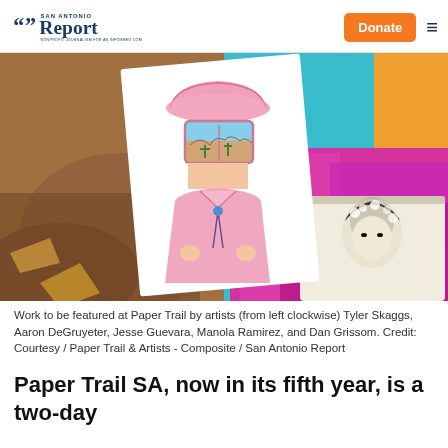San Antonio Report — Donate
[Figure (photo): Collage of artwork to be featured at Paper Trail by artists Tyler Skaggs, Aaron DeGruyeter, Jesse Guevara, Manola Ramirez, and Dan Grissom. Includes illustrated cowboy print, umbrella design, tote bags with colorful geometric and portrait art.]
Work to be featured at Paper Trail by artists (from left clockwise) Tyler Skaggs, Aaron DeGruyeter, Jesse Guevara, Manola Ramirez, and Dan Grissom. Credit: Courtesy / Paper Trail & Artists - Composite / San Antonio Report
Paper Trail SA, now in its fifth year, is a two-day